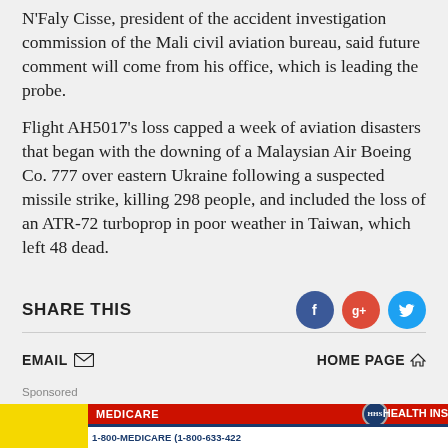N'Faly Cisse, president of the accident investigation commission of the Mali civil aviation bureau, said future comment will come from his office, which is leading the probe.
Flight AH5017's loss capped a week of aviation disasters that began with the downing of a Malaysian Air Boeing Co. 777 over eastern Ukraine following a suspected missile strike, killing 298 people, and included the loss of an ATR-72 turboprop in poor weather in Taiwan, which left 48 dead.
SHARE THIS
EMAIL  HOME PAGE
Sponsored
[Figure (photo): Medicare health insurance card advertisement showing red, white and blue Medicare card with 1-800-MEDICARE (1-800-633-4227) on yellow background]